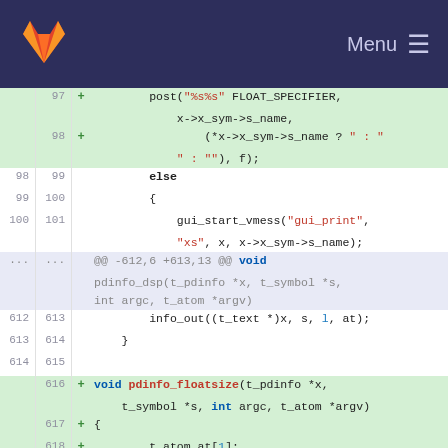GitLab Menu
[Figure (screenshot): Code diff viewer showing git diff with added lines (green background) and context lines, displaying C code for pdinfo functions including pdinfo_floatsize]
97 + post("%s%s" FLOAT_SPECIFIER, x->x_sym->s_name,
98 + (*x->x_sym->s_name ? " : " : ""), f);
98 99 else
99 100 {
100 101 gui_start_vmess("gui_print", "xs", x, x->x_sym->s_name);
... ... @@ -612,6 +613,13 @@ void pdinfo_dsp(t_pdinfo *x, t_symbol *s, int argc, t_atom *argv)
612 613 info_out((t_text *)x, s, l, at);
613 614 }
614 615
616 + void pdinfo_floatsize(t_pdinfo *x, t_symbol *s, int argc, t_atom *argv)
617 + {
618 + t_atom at[1];
619 + SETFLOAT(at, (t_float)PD_FLOATSIZE);